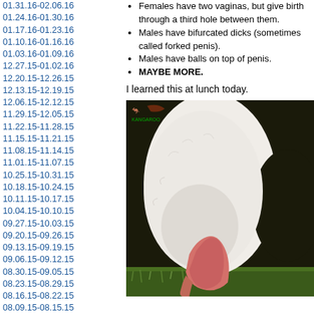01.31.16-02.06.16
01.24.16-01.30.16
01.17.16-01.23.16
01.10.16-01.16.16
01.03.16-01.09.16
12.27.15-01.02.16
12.20.15-12.26.15
12.13.15-12.19.15
12.06.15-12.12.15
11.29.15-12.05.15
11.22.15-11.28.15
11.15.15-11.21.15
11.08.15-11.14.15
11.01.15-11.07.15
10.25.15-10.31.15
10.18.15-10.24.15
10.11.15-10.17.15
10.04.15-10.10.15
09.27.15-10.03.15
09.20.15-09.26.15
09.13.15-09.19.15
09.06.15-09.12.15
08.30.15-09.05.15
08.23.15-08.29.15
08.16.15-08.22.15
08.09.15-08.15.15
08.02.15-08.08.15
07.26.15-08.01.15
07.19.15-07.25.15
07.12.15-07.18.15
07.05.15-07.11.15
06.28.15-07.04.15
06.21.15-06.27.15
Females have two vaginas, but give birth through a third hole between them.
Males have bifurcated dicks (sometimes called forked penis).
Males have balls on top of penis.
MAYBE MORE.
I learned this at lunch today.
[Figure (photo): Close-up photo of a white kangaroo showing its underside/pouch area with pink skin visible, standing on grass with dark background]